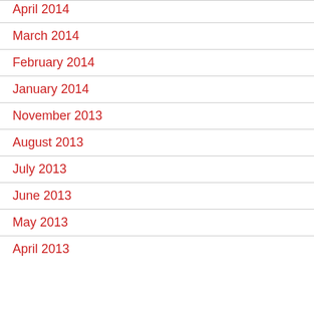April 2014
March 2014
February 2014
January 2014
November 2013
August 2013
July 2013
June 2013
May 2013
April 2013